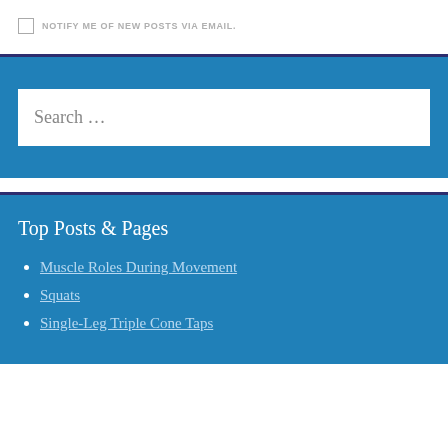NOTIFY ME OF NEW POSTS VIA EMAIL.
Search ...
Top Posts & Pages
Muscle Roles During Movement
Squats
Single-Leg Triple Cone Taps